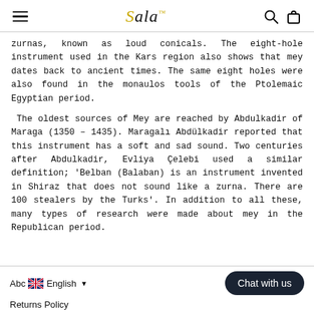Sala [logo] — navigation header with hamburger menu, search and cart icons
zurnas, known as loud conicals. The eight-hole instrument used in the Kars region also shows that mey dates back to ancient times. The same eight holes were also found in the monaulos tools of the Ptolemaic Egyptian period.
The oldest sources of Mey are reached by Abdulkadir of Maraga (1350 – 1435). Maragalı Abdülkadir reported that this instrument has a soft and sad sound. Two centuries after Abdulkadir, Evliya Çelebi used a similar definition; 'Belban (Balaban) is an instrument invented in Shiraz that does not sound like a zurna. There are 100 stealers by the Turks'. In addition to all these, many types of research were made about mey in the Republican period.
Abc [UK flag] English ▾   Chat with us   Returns Policy